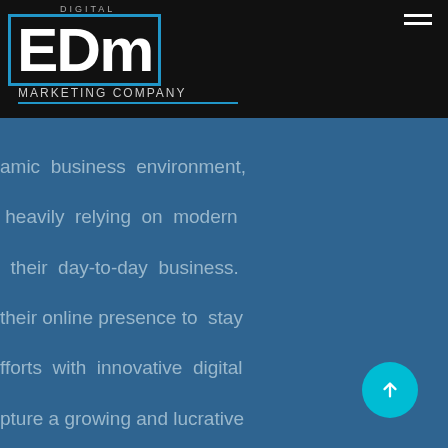DIGITAL EDm MARKETING COMPANY
amic business environment, heavily relying on modern their day-to-day business. their online presence to stay fforts with innovative digital pture a growing and lucrative
effective than l playing field for digital marketing PC, the prospect er and creates a tomers. that li